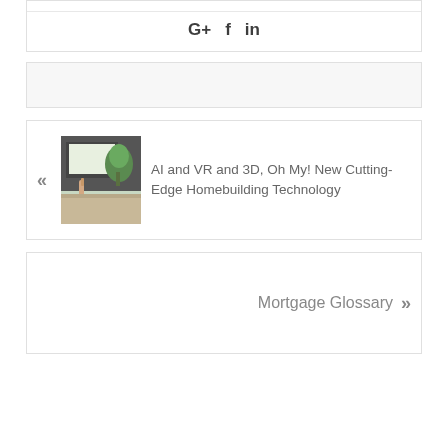[Figure (other): Social sharing icons: G+, f (Facebook), in (LinkedIn) inside a bordered box]
[Figure (other): Empty light gray placeholder box]
[Figure (photo): Thumbnail image of a person pointing at a smart home display with plants visible, next to article title]
AI and VR and 3D, Oh My! New Cutting-Edge Homebuilding Technology
Mortgage Glossary